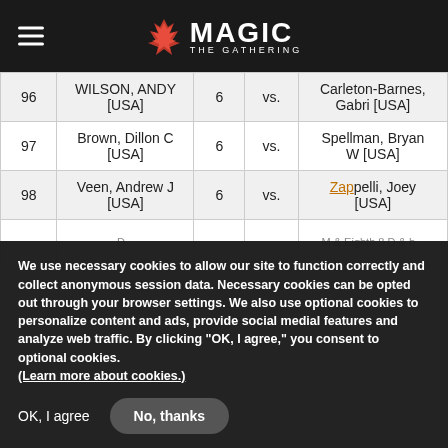Magic: The Gathering
| # | Player | Pts | vs. | Opponent |
| --- | --- | --- | --- | --- |
| 96 | WILSON, ANDY [USA] | 6 | vs. | Carleton-Barnes, Gabri [USA] |
| 97 | Brown, Dillon C [USA] | 6 | vs. | Spellman, Bryan W [USA] |
| 98 | Veen, Andrew J [USA] | 6 | vs. | Zappelli, Joey [USA] |
We use necessary cookies to allow our site to function correctly and collect anonymous session data. Necessary cookies can be opted out through your browser settings. We also use optional cookies to personalize content and ads, provide social medial features and analyze web traffic. By clicking “OK, I agree,” you consent to optional cookies. (Learn more about cookies.)